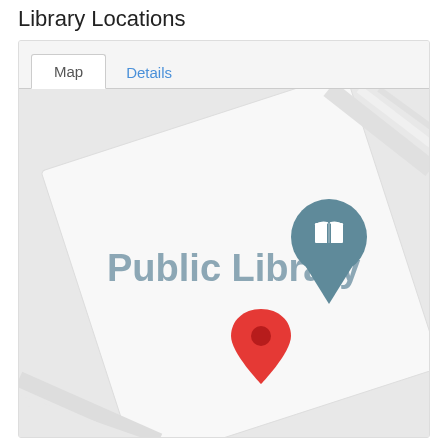Library Locations
[Figure (map): A map interface showing a Public Library location with a teal map pin bearing a book icon and a red location marker pin below it. The map has a tab interface with 'Map' (active) and 'Details' tabs. The map shows street outlines at an angle with a large label 'Public Library' in grey text.]